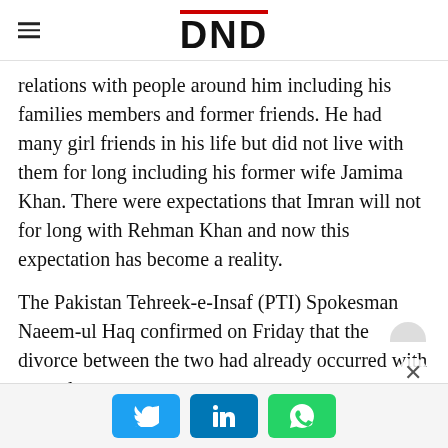DND
relations with people around him including his families members and former friends. He had many girl friends in his life but did not live with them for long including his former wife Jamima Khan. There were expectations that Imran will not for long with Rehman Khan and now this expectation has become a reality.
The Pakistan Tehreek-e-Insaf (PTI) Spokesman Naeem-ul Haq confirmed on Friday that the divorce between the two had already occurred with mutual consent.